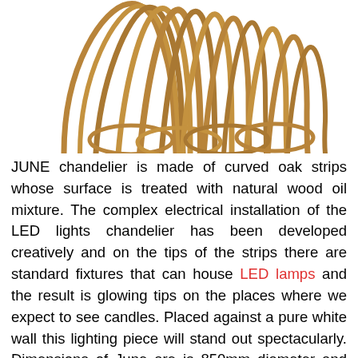[Figure (photo): Close-up photo of the JUNE chandelier made of curved oak strips with natural wood oil finish, showing the rounded looping wooden strips against a white background.]
JUNE chandelier is made of curved oak strips whose surface is treated with natural wood oil mixture. The complex electrical installation of the LED lights chandelier has been developed creatively and on the tips of the strips there are standard fixtures that can house LED lamps and the result is glowing tips on the places where we expect to see candles. Placed against a pure white wall this lighting piece will stand out spectacularly. Dimensions of June are is 850mm diameter and 550